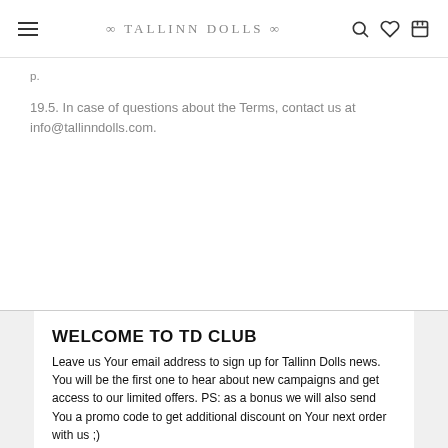≈ TALLINN DOLLS ≈
p.
19.5. In case of questions about the Terms, contact us at info@tallinndolls.com.
WELCOME TO TD CLUB
Leave us Your email address to sign up for Tallinn Dolls news. You will be the first one to hear about new campaigns and get access to our limited offers. PS: as a bonus we will also send You a promo code to get additional discount on Your next order with us ;)